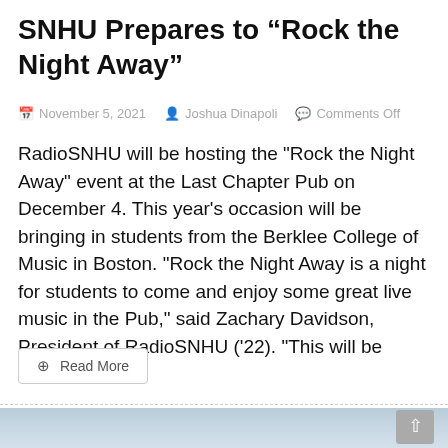SNHU Prepares to “Rock the Night Away”
November 5, 2021   Joshua Dinapoli   Comments Off
RadioSNHU will be hosting the "Rock the Night Away" event at the Last Chapter Pub on December 4. This year's occasion will be bringing in students from the Berklee College of Music in Boston. "Rock the Night Away is a night for students to come and enjoy some great live music in the Pub," said Zachary Davidson, President of RadioSNHU ('22). "This will be
Read More
[Figure (photo): Bottom portion of a webpage showing a sky/outdoor photo with a scroll-to-top button in the lower right corner.]